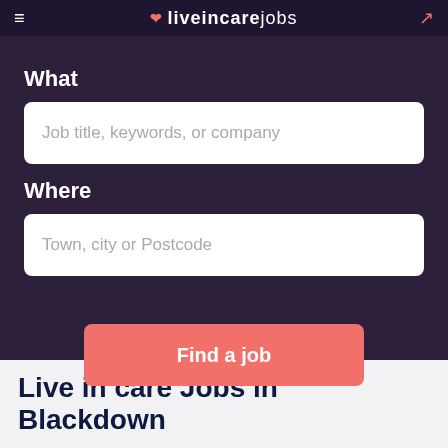liveInCareJobs
What
Job title, keywords, or company
Where
Town, city or Postcode
Find a job
Live in care Jobs in Blackdown